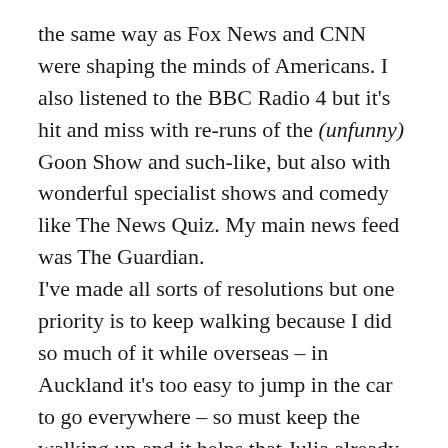the same way as Fox News and CNN were shaping the minds of Americans. I also listened to the BBC Radio 4 but it's hit and miss with re-runs of the (unfunny) Goon Show and such-like, but also with wonderful specialist shows and comedy like The News Quiz. My main news feed was The Guardian.
I've made all sorts of resolutions but one priority is to keep walking because I did so much of it while overseas – in Auckland it's too easy to jump in the car to go everywhere – so must keep the walking up and it helps that Julia already has a good routine going, and we're planning to do more fitness things and hiking and getting around the country. It's also a relief to take a break from sightseeing and get